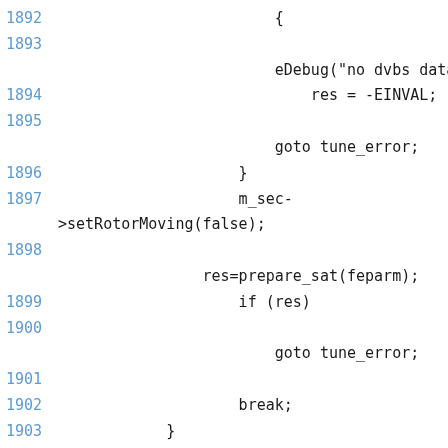1892    {
1893
            eDebug("no dvbs data!
1894                res = -EINVAL;
1895
            goto tune_error;
1896            }
1897            m_sec->setRotorMoving(false);
1898
        res=prepare_sat(feparm);
1899            if (res)
1900
            goto tune_error;
1901
1902            break;
1903        }
1904        case feCable:
1905        {
1906